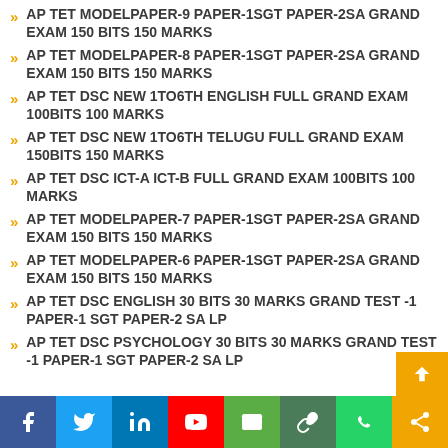AP TET MODELPAPER-9 PAPER-1SGT PAPER-2SA GRAND EXAM 150 BITS 150 MARKS
AP TET MODELPAPER-8 PAPER-1SGT PAPER-2SA GRAND EXAM 150 BITS 150 MARKS
AP TET DSC NEW 1to6th ENGLISH FULL GRAND EXAM 100BITS 100 MARKS
AP TET DSC NEW 1to6th TELUGU FULL GRAND EXAM 150BITS 150 MARKS
AP TET DSC ICT-A ICT-B FULL GRAND EXAM 100BITS 100 MARKS
AP TET MODELPAPER-7 PAPER-1SGT PAPER-2SA GRAND EXAM 150 BITS 150 MARKS
AP TET MODELPAPER-6 PAPER-1SGT PAPER-2SA GRAND EXAM 150 BITS 150 MARKS
AP TET DSC ENGLISH 30 BITS 30 MARKS GRAND TEST -1 PAPER-1 SGT PAPER-2 SA LP
AP TET DSC PSYCHOLOGY 30 BITS 30 MARKS GRAND TEST -1 PAPER-1 SGT PAPER-2 SA LP